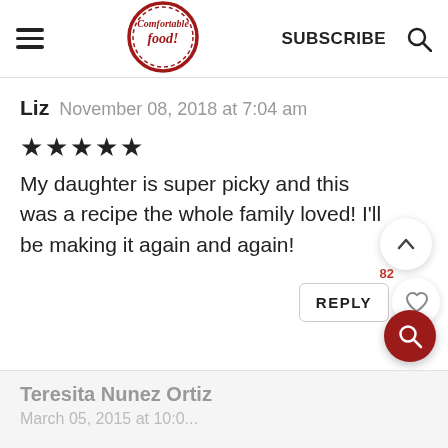[Figure (screenshot): Website header with hamburger menu, Comfortable Food logo (circular red stamp design), SUBSCRIBE text, and search icon]
Liz  November 08, 2018 at 7:04 am
★★★★★
My daughter is super picky and this was a recipe the whole family loved! I'll be making it again and again!
82
REPLY
Teresita Nunez Ortiz
March 05, 2015 at 10:03...